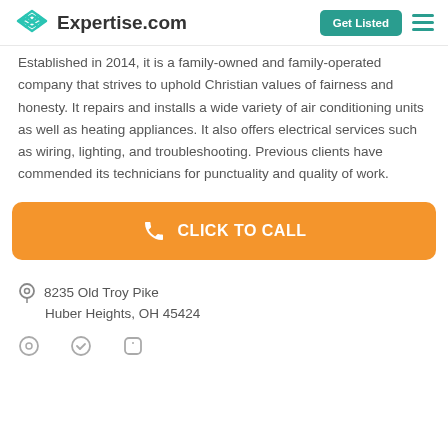Expertise.com | Get Listed
Established in 2014, it is a family-owned and family-operated company that strives to uphold Christian values of fairness and honesty. It repairs and installs a wide variety of air conditioning units as well as heating appliances. It also offers electrical services such as wiring, lighting, and troubleshooting. Previous clients have commended its technicians for punctuality and quality of work.
[Figure (other): Orange button with phone icon and text CLICK TO CALL]
8235 Old Troy Pike
Huber Heights, OH 45424